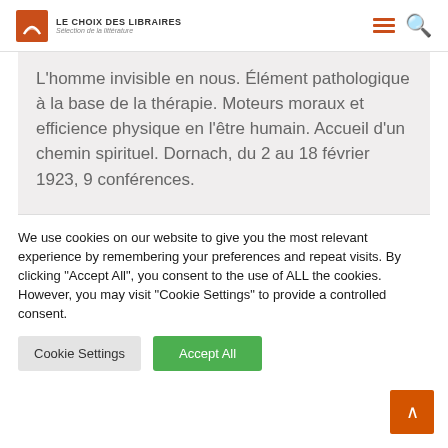LE CHOIX DES LIBRAIRES — Sélection de la littérature
L'homme invisible en nous. Élément pathologique à la base de la thérapie. Moteurs moraux et efficience physique en l'être humain. Accueil d'un chemin spirituel. Dornach, du 2 au 18 février 1923, 9 conférences.
We use cookies on our website to give you the most relevant experience by remembering your preferences and repeat visits. By clicking "Accept All", you consent to the use of ALL the cookies. However, you may visit "Cookie Settings" to provide a controlled consent.